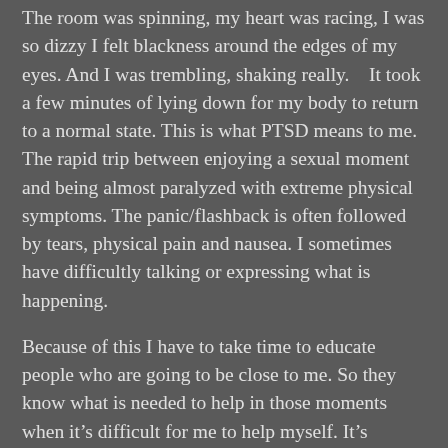The room was spinning, my heart was racing, I was so dizzy I felt blackness around the edges of my eyes.  And I was trembling, shaking really.    It took a few minutes of lying down for my body to return to a normal state.  This is what PTSD means to me.  The rapid trip between enjoying a sexual moment and being almost paralyzed with extreme physical symptoms.  The panic/flashback is often followed by tears, physical pain and nausea.  I sometimes have difficultly talking or expressing what is happening.
Because of this I have to take time to educate people who are going to be close to me. So they know what is needed to help in those moments when it's difficult for me to help myself.  It's important for others to realize that in the midst of a flashback I can't consent, I can't think, I can't communicate clearly, and I need help